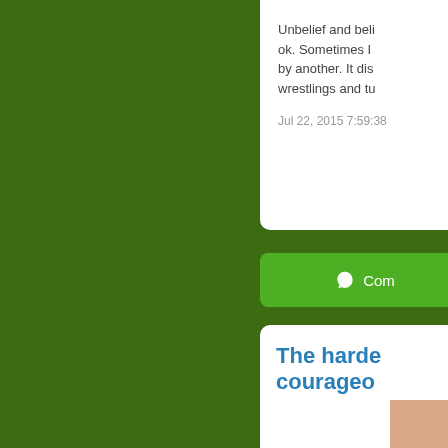[Figure (screenshot): Green background with two white content cards partially visible on the right side. Top card shows text about unbelief and belief with a date. A green comment button is below. Bottom card shows a title in blue starting with 'The harde... courageous...' with a partial skin-toned image.]
Unbelief and beli... ok. Sometimes I... by another. It dis... wrestlings and tu...
Jul 22, 2015 7:59:38
Com...
The harde... courageous...